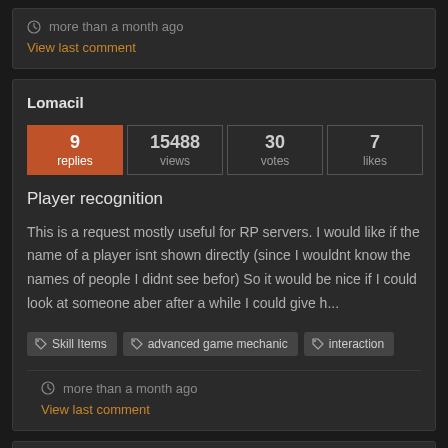more than a month ago
View last comment
Lomacil
| replies | views | votes | likes |
| --- | --- | --- | --- |
| 9 | 15488 | 30 | 7 |
Player recognition
This is a request mostly useful for RP servers. I would like if the name of a player isnt shown directly (since I wouldnt know the names of people I didnt see befor) So it would be nice if I could look at someone aber after a while I could give h...
Skill Items
advanced game mechanic
interaction
more than a month ago
View last comment